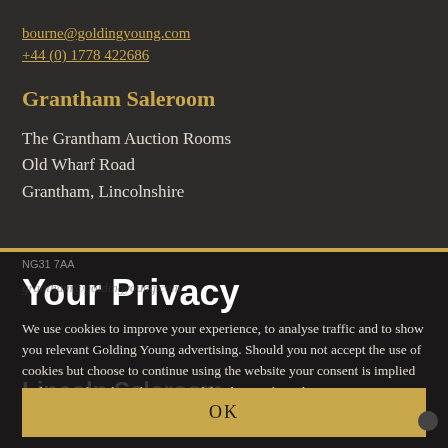bourne@goldingyoung.com
+44 (0) 1778 422686
Grantham Saleroom
The Grantham Auction Rooms
Old Wharf Road
Grantham, Lincolnshire
NG31 7AA
Your Privacy
grantham@goldingyoung.com
We use cookies to improve your experience, to analyse traffic and to show you relevant Golding Young advertising. Should you not accept the use of cookies but choose to continue using the website your consent is implied to the use of cookies that are used for data analytical purposes. More information.
Lincoln Saleroom
The Lincoln Auction Ro...
OK